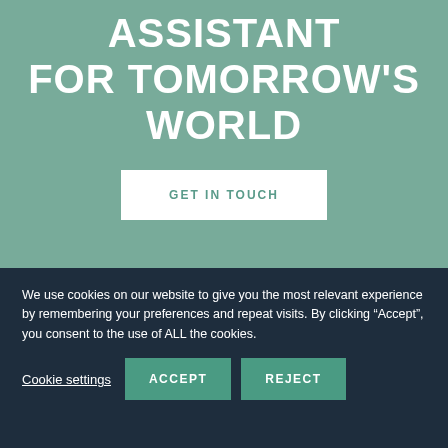ASSISTANT FOR TOMORROW'S WORLD
GET IN TOUCH
We use cookies on our website to give you the most relevant experience by remembering your preferences and repeat visits. By clicking “Accept”, you consent to the use of ALL the cookies.
Cookie settings
ACCEPT
REJECT